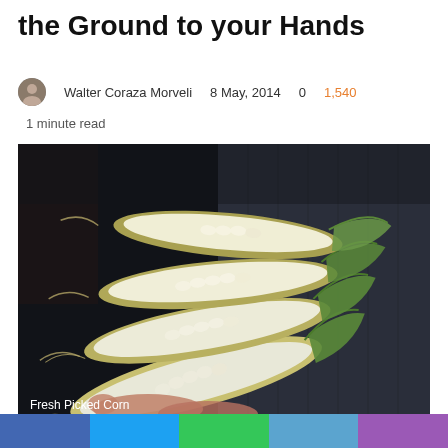the Ground to your Hands
Walter Coraza Morveli   8 May, 2014   0   1,540
1 minute read
[Figure (photo): A person holding several ears of fresh white corn with green husks partially peeled back, showing the white kernels. The background shows a dark denim jacket.]
Fresh Picked Corn